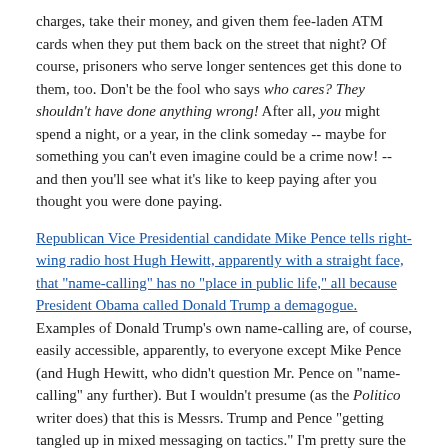charges, take their money, and given them fee-laden ATM cards when they put them back on the street that night? Of course, prisoners who serve longer sentences get this done to them, too. Don't be the fool who says who cares? They shouldn't have done anything wrong! After all, you might spend a night, or a year, in the clink someday -- maybe for something you can't even imagine could be a crime now! -- and then you'll see what it's like to keep paying after you thought you were done paying.
Republican Vice Presidential candidate Mike Pence tells right-wing radio host Hugh Hewitt, apparently with a straight face, that "name-calling" has no "place in public life," all because President Obama called Donald Trump a demagogue. Examples of Donald Trump's own name-calling are, of course, easily accessible, apparently, to everyone except Mike Pence (and Hugh Hewitt, who didn't question Mr. Pence on "name-calling" any further). But I wouldn't presume (as the Politico writer does) that this is Messrs. Trump and Pence "getting tangled up in mixed messaging on tactics." I'm pretty sure the "mixed messaging" is the tactic -- being a Republican (let alone a Trump votary!) requires exactly this sort of mental disconnect all the time.
Finally, speaking of Mr. Trump, what to make of his declaration at an Ohio rally that "I'm afraid the election's gonna be rigged, I have to be honest"? That he's not so confident in Voter ID laws delivering him unearned victories in Wisconsin and North Carolina after all? That he's trying to gin up anger and resentment among votaries who can't possibly see how he could have lost? Or